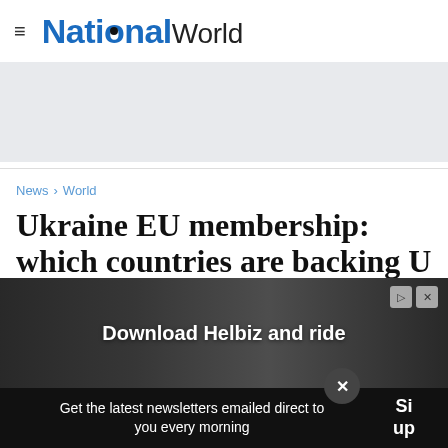NationalWorld
[Figure (other): Grey advertisement placeholder area]
News > World
Ukraine EU membership: which countries are backing Ukraine's bid to join the EU
[Figure (other): Download Helbiz and ride advertisement overlay banner]
Get the latest newsletters emailed direct to you every morning